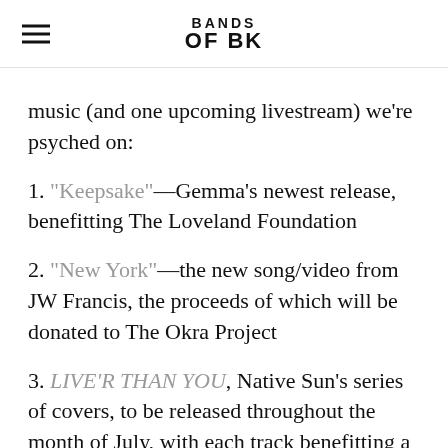BANDS OF BK
music (and one upcoming livestream) we're psyched on:
1. "Keepsake"—Gemma's newest release, benefitting The Loveland Foundation
2. "New York"—the new song/video from JW Francis, the proceeds of which will be donated to The Okra Project
3. LIVE'R THAN YOU, Native Sun's series of covers, to be released throughout the month of July, with each track benefitting a different good cause.